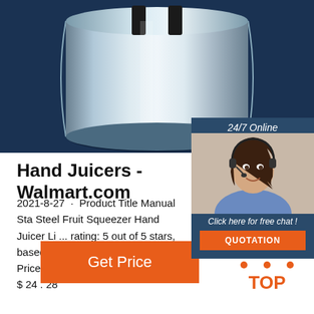[Figure (photo): Product image of a stainless steel hand juicer/citrus squeezer on a dark navy blue background]
[Figure (photo): 24/7 Online chat widget with a woman wearing a headset, with 'Click here for free chat!' text and orange QUOTATION button]
Hand Juicers - Walmart.com
2021-8-27 · Product Title Manual Sta Steel Fruit Squeezer Hand Juicer Li ... rating: 5 out of 5 stars, based on 3 rev ratings Current Price $12.14 $ 12 . 14 Price $24.28 $ 24 . 28
[Figure (other): Orange 'Get Price' button]
[Figure (logo): Orange TOP logo with dots arranged in a triangle above the word TOP]